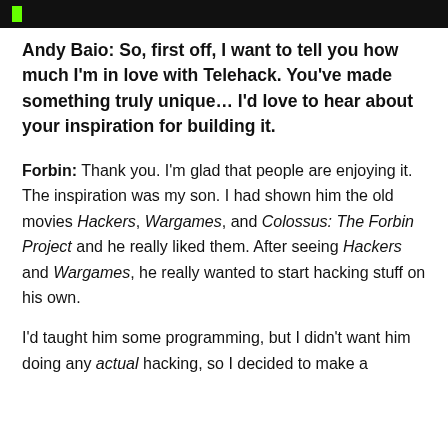[header bar with green cursor]
Andy Baio: So, first off, I want to tell you how much I'm in love with Telehack. You've made something truly unique… I'd love to hear about your inspiration for building it.
Forbin: Thank you. I'm glad that people are enjoying it. The inspiration was my son. I had shown him the old movies Hackers, Wargames, and Colossus: The Forbin Project and he really liked them. After seeing Hackers and Wargames, he really wanted to start hacking stuff on his own.
I'd taught him some programming, but I didn't want him doing any actual hacking, so I decided to make a